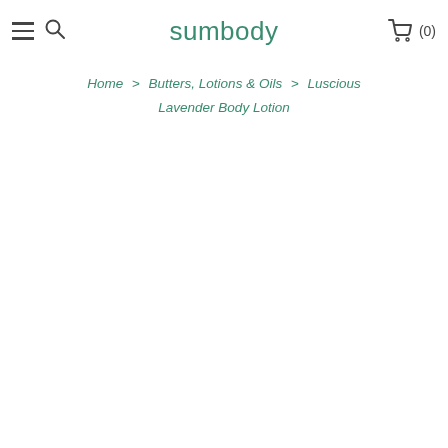sumbody — (0)
Home > Butters, Lotions & Oils > Luscious Lavender Body Lotion